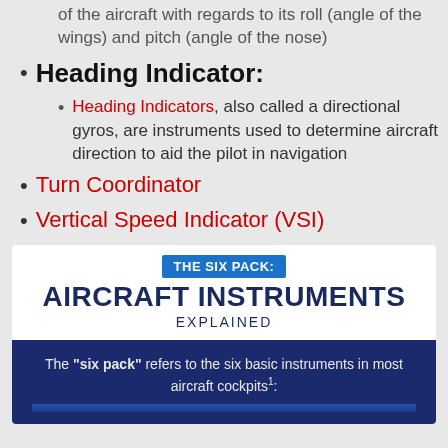of the aircraft with regards to its roll (angle of the wings) and pitch (angle of the nose)
Heading Indicator:
Heading Indicators, also called a directional gyros, are instruments used to determine aircraft direction to aid the pilot in navigation
Turn Coordinator
Vertical Speed Indicator (VSI)
[Figure (infographic): Infographic titled 'THE SIX PACK: AIRCRAFT INSTRUMENTS EXPLAINED' with a dark blue section stating: The "six pack" refers to the six basic instruments in most aircraft cockpits¹:]